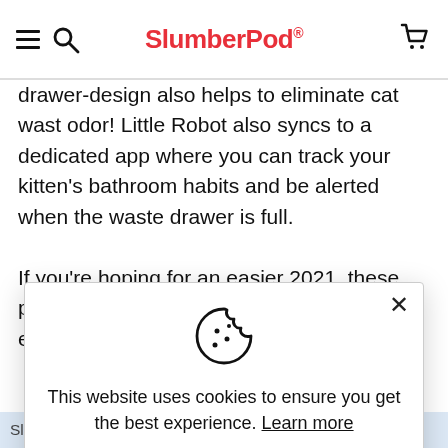SlumberPod
drawer-design also helps to eliminate cat wast odor! Little Robot also syncs to a dedicated app where you can track your kitten's bathroom habits and be alerted when the waste drawer is full.

If you're hoping for an easier 2021, these products can make life with your furry friend even sweeter! Happy
[Figure (screenshot): Cookie consent modal with cookie icon, message 'This website uses cookies to ensure you get the best experience. Learn more', and two buttons: Decline and Accept. An X close button in top right.]
SlumberPod Pet (parent company, Dovetail